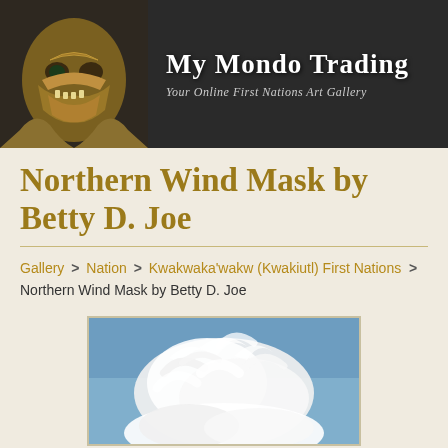My Mondo Trading — Your Online First Nations Art Gallery
Northern Wind Mask by Betty D. Joe
Gallery > Nation > Kwakwaka'wakw (Kwakiutl) First Nations > Northern Wind Mask by Betty D. Joe
[Figure (photo): Partial view of a Northern Wind Mask artwork showing white feathers or cloud-like forms against a blue sky background]